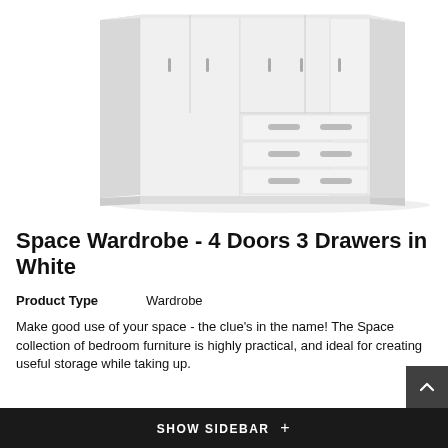[Figure (photo): White wardrobe with 4 doors and 3 drawers in the center-bottom section. The wardrobe is shown in a 3D perspective view against a white background.]
Space Wardrobe - 4 Doors 3 Drawers in White
Product Type    Wardrobe
Make good use of your space - the clue's in the name! The Space collection of bedroom furniture is highly practical, and ideal for creating useful storage while taking up.
SHOW SIDEBAR +